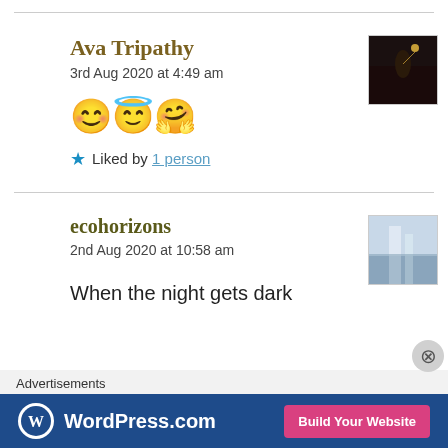Ava Tripathy
3rd Aug 2020 at 4:49 am
[Figure (photo): Small thumbnail avatar image of a silhouette figure against dark background]
😊😇🤗
★ Liked by 1 person
ecohorizons
2nd Aug 2020 at 10:58 am
[Figure (photo): Small thumbnail avatar image with misty/waterfall scene]
When the night gets dark
Advertisements
[Figure (screenshot): WordPress.com advertisement banner with Build Your Website button]